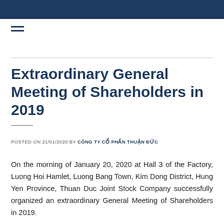Extraordinary General Meeting of Shareholders in 2019
POSTED ON 21/01/2020 BY CÔNG TY CỔ PHẦN THUẬN ĐỨC
On the morning of January 20, 2020 at Hall 3 of the Factory, Luong Hoi Hamlet, Luong Bang Town, Kim Dong District, Hung Yen Province, Thuan Duc Joint Stock Company successfully organized an extraordinary General Meeting of Shareholders in 2019.